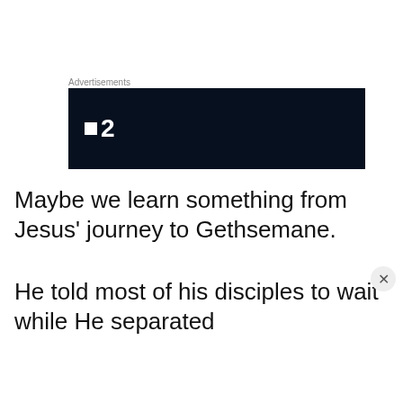Advertisements
[Figure (logo): Dark navy/black banner advertisement with a white square icon and bold white '2' text on the left side.]
Maybe we learn something from Jesus' journey to Gethsemane.
He told most of his disciples to wait while He separated
Privacy & Cookies: This site uses cookies. By continuing to use this website, you agree to their use.
To find out more, including how to control cookies, see here: Cookie Policy